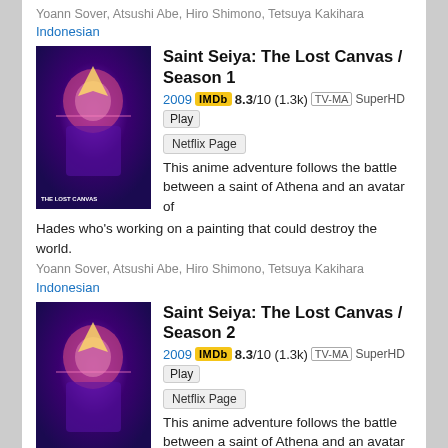Yoann Sover, Atsushi Abe, Hiro Shimono, Tetsuya Kakihara
Indonesian
Saint Seiya: The Lost Canvas / Season 1
2009 IMDb 8.3/10 (1.3k) TV-MA SuperHD Play Netflix Page
This anime adventure follows the battle between a saint of Athena and an avatar of Hades who's working on a painting that could destroy the world.
Yoann Sover, Atsushi Abe, Hiro Shimono, Tetsuya Kakihara
Indonesian
Saint Seiya: The Lost Canvas / Season 2
2009 IMDb 8.3/10 (1.3k) TV-MA SuperHD Play Netflix Page
This anime adventure follows the battle between a saint of Athena and an avatar of Hades who's working on a painting that could destroy the world.
Yoann Sover, Atsushi Abe, Hiro Shimono, Tetsuya Kakihara
Indonesian